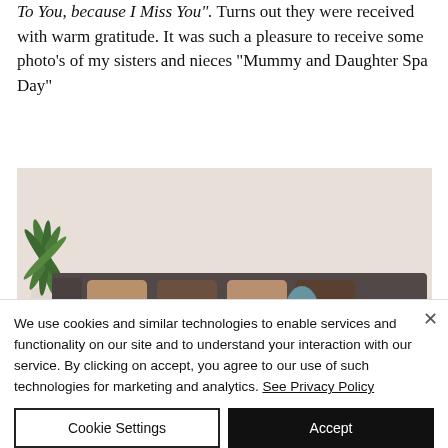To You, because I Miss You". Turns out they were received with warm gratitude. It was such a pleasure to receive some photo's of my sisters and nieces "Mummy and Daughter Spa Day"
[Figure (photo): A dark brown sofa with brown and tan cushions, pink and teal/blue spa robes draped over it, and a teal bag on the right side. A green tropical plant in a white pot is visible in the background on the left.]
We use cookies and similar technologies to enable services and functionality on our site and to understand your interaction with our service. By clicking on accept, you agree to our use of such technologies for marketing and analytics. See Privacy Policy
Cookie Settings
Accept